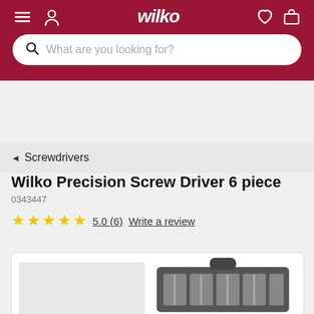Wilko
What are you looking for?
◄ Screwdrivers
Wilko Precision Screw Driver 6 piece
0343447
★★★★★ 5.0 (6) Write a review
[Figure (photo): Product photo of Wilko Precision Screw Driver 6 piece set in a grey case with screwdrivers visible]